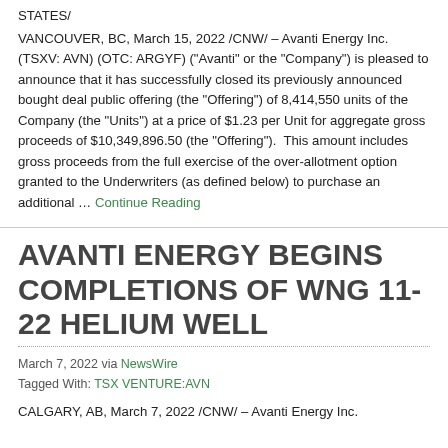STATES/
VANCOUVER, BC, March 15, 2022 /CNW/ – Avanti Energy Inc. (TSXV: AVN) (OTC: ARGYF) ("Avanti" or the "Company") is pleased to announce that it has successfully closed its previously announced bought deal public offering (the "Offering") of 8,414,550 units of the Company (the "Units") at a price of $1.23 per Unit for aggregate gross proceeds of $10,349,896.50 (the "Offering").  This amount includes gross proceeds from the full exercise of the over-allotment option granted to the Underwriters (as defined below) to purchase an additional … Continue Reading
AVANTI ENERGY BEGINS COMPLETIONS OF WNG 11-22 HELIUM WELL
March 7, 2022 via NewsWire
Tagged With: TSX VENTURE:AVN
CALGARY, AB, March 7, 2022 /CNW/ – Avanti Energy Inc.